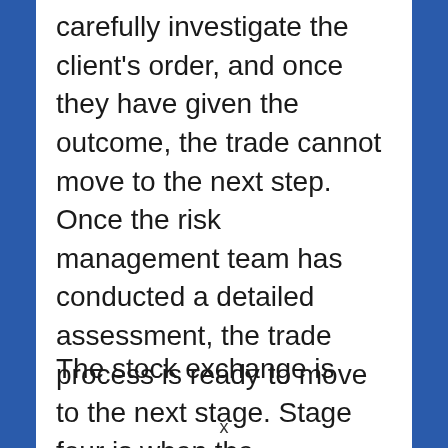carefully investigate the client's order, and once they have given the outcome, the trade cannot move to the next step. Once the risk management team has conducted a detailed assessment, the trade process is ready to move to the next stage. Stage four is when the management team has acknowledged the investor's orders. The brokerage firm will eventually deliver it to the stock exchange after the phases have been finalized.
The stock exchange is responsible for...